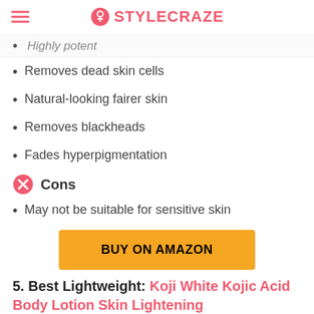STYLECRAZE
Highly potent
Removes dead skin cells
Natural-looking fairer skin
Removes blackheads
Fades hyperpigmentation
Cons
May not be suitable for sensitive skin
[Figure (other): BUY ON AMAZON button in orange/yellow]
5. Best Lightweight: Koji White Kojic Acid Body Lotion Skin Lightening